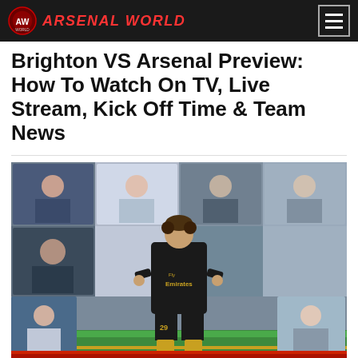ARSENAL WORLD
Brighton VS Arsenal Preview: How To Watch On TV, Live Stream, Kick Off Time & Team News
[Figure (photo): Arsenal player wearing black Emirates kit with number 29, standing with hands on hips on a football pitch, surrounded by virtual fan background mosaic of supporters watching remotely.]